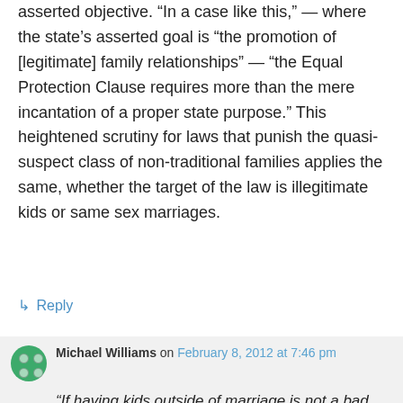asserted objective. “In a case like this,” — where the state’s asserted goal is “the promotion of [legitimate] family relationships” — “the Equal Protection Clause requires more than the mere incantation of a proper state purpose.” This heightened scrutiny for laws that punish the quasi-suspect class of non-traditional families applies the same, whether the target of the law is illegitimate kids or same sex marriages.
↳ Reply
Michael Williams on February 8, 2012 at 7:46 pm
“If having kids outside of marriage is not a bad thing, — not a “disability” — then the